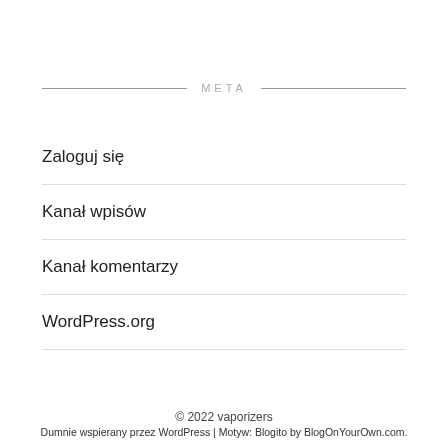META
Zaloguj się
Kanał wpisów
Kanał komentarzy
WordPress.org
© 2022 vaporizers
Dumnie wspierany przez WordPress | Motyw: Blogito by BlogOnYourOwn.com.